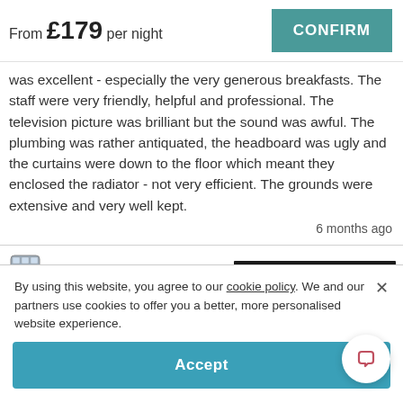From £179 per night
was excellent - especially the very generous breakfasts. The staff were very friendly, helpful and professional. The television picture was brilliant but the sound was awful. The plumbing was rather antiquated, the headboard was ugly and the curtains were down to the floor which meant they enclosed the radiator - not very efficient. The grounds were extensive and very well kept.
6 months ago
By using this website, you agree to our cookie policy. We and our partners use cookies to offer you a better, more personalised website experience.
Accept